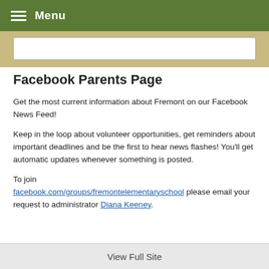Menu
Facebook Parents Page
Get the most current information about Fremont on our Facebook News Feed!
Keep in the loop about volunteer opportunities, get reminders about important deadlines and be the first to hear news flashes! You'll get automatic updates whenever something is posted.
To join facebook.com/groups/fremontelementaryschool please email your request to administrator Diana Keeney.
View Full Site